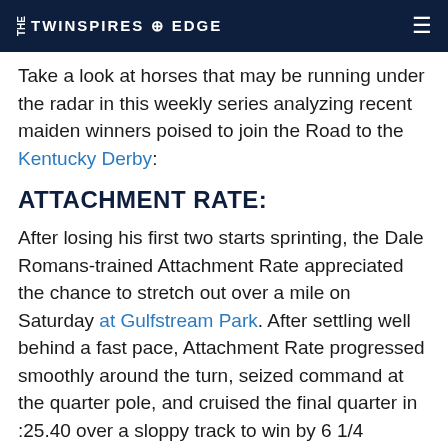THE TWINSPIRES EDGE
Take a look at horses that may be running under the radar in this weekly series analyzing recent maiden winners poised to join the Road to the Kentucky Derby:
ATTACHMENT RATE:
After losing his first two starts sprinting, the Dale Romans-trained Attachment Rate appreciated the chance to stretch out over a mile on Saturday at Gulfstream Park. After settling well behind a fast pace, Attachment Rate progressed smoothly around the turn, seized command at the quarter pole, and cruised the final quarter in :25.40 over a sloppy track to win by 6 1/4 lengths. His final time of 1:35.03 was quick and perhaps a